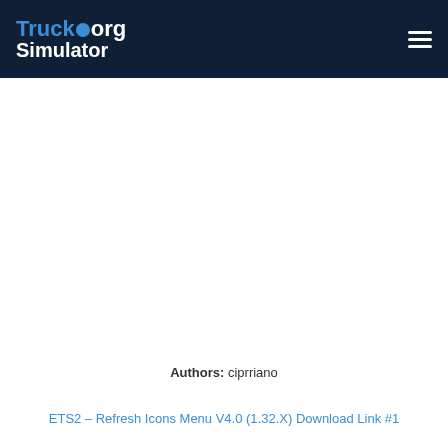Truck.org Simulator
Authors: ciprriano
ETS2 – Refresh Icons Menu V4.0 (1.32.X) Download Link #1